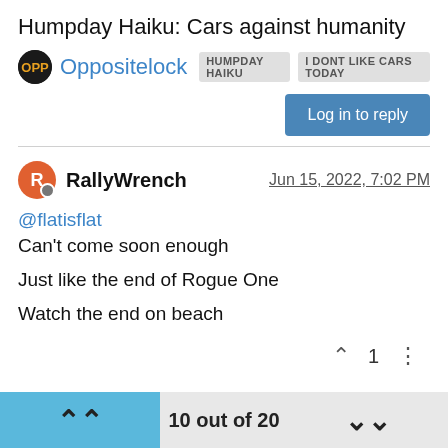Humpday Haiku: Cars against humanity
Oppositelock  HUMPDAY HAIKU  I DONT LIKE CARS TODAY
Log in to reply
RallyWrench  Jun 15, 2022, 7:02 PM
@flatisflat
Can't come soon enough

Just like the end of Rogue One

Watch the end on beach
▲  1  ⋮
10 out of 20